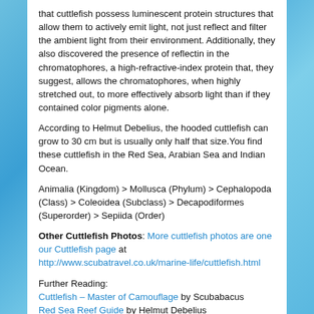that cuttlefish possess luminescent protein structures that allow them to actively emit light, not just reflect and filter the ambient light from their environment. Additionally, they also discovered the presence of reflectin in the chromatophores, a high-refractive-index protein that, they suggest, allows the chromatophores, when highly stretched out, to more effectively absorb light than if they contained color pigments alone.
According to Helmut Debelius, the hooded cuttlefish can grow to 30 cm but is usually only half that size. You find these cuttlefish in the Red Sea, Arabian Sea and Indian Ocean.
Animalia (Kingdom) > Mollusca (Phylum) > Cephalopoda (Class) > Coleoidea (Subclass) > Decapodiformes (Superorder) > Sepiida (Order)
Other Cuttlefish Photos: More cuttlefish photos are one our Cuttlefish page at http://www.scubatravel.co.uk/marine-life/cuttlefish.html
Further Reading:
Cuttlefish – Master of Camouflage by Scubabacus
Red Sea Reef Guide by Helmut Debelius
Copyright SCUBA Travel - http://www.scubatravel.co.uk/
Reprinted with Permission